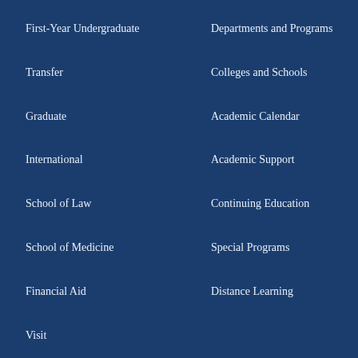First-Year Undergraduate
Departments and Programs
Transfer
Colleges and Schools
Graduate
Academic Calendar
International
Academic Support
School of Law
Continuing Education
School of Medicine
Special Programs
Financial Aid
Distance Learning
Visit